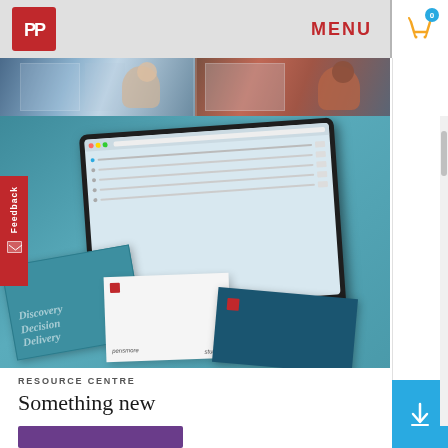[Figure (screenshot): Website header with red PP logo box, MENU text in red, and shopping cart icon with blue badge showing 0]
[Figure (photo): Photo strip showing two images: a woman at electrical panels on the left and a man working on electrical equipment on the right]
[Figure (photo): Main hero image showing a laptop with a product management interface screen, surrounded by teal Discovery Decision Delivery brochures, white booklets, and dark blue books on a teal background. Red Feedback tab on left edge.]
RESOURCE CENTRE
Something new